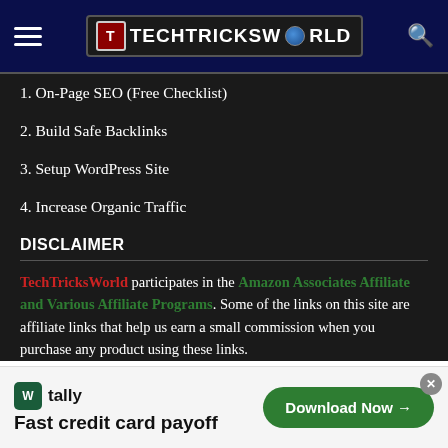TECHTRICKSWORLD navigation header
1. On-Page SEO (Free Checklist)
2. Build Safe Backlinks
3. Setup WordPress Site
4. Increase Organic Traffic
DISCLAIMER
TechTricksWorld participates in the Amazon Associates Affiliate and Various Affiliate Programs. Some of the links on this site are affiliate links that help us earn a small commission when you purchase any product using these links.
[Figure (other): Tally advertisement banner - Fast credit card payoff with Download Now button]